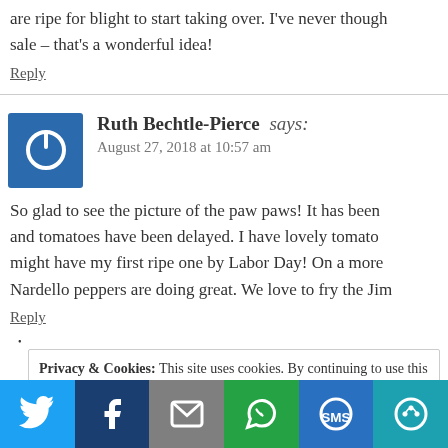are ripe for blight to start taking over. I've never thought sale – that's a wonderful idea!
Reply
Ruth Bechtle-Pierce says:
August 27, 2018 at 10:57 am
So glad to see the picture of the paw paws! It has been and tomatoes have been delayed. I have lovely tomato might have my first ripe one by Labor Day! On a more Nardello peppers are doing great. We love to fry the Jim
Reply
Privacy & Cookies: This site uses cookies. By continuing to use this website, you agree to their use.
To find out more, including how to control cookies, see here: Cookie Policy
[Figure (infographic): Social sharing bar with Twitter, Facebook, Email, WhatsApp, SMS, and More buttons]